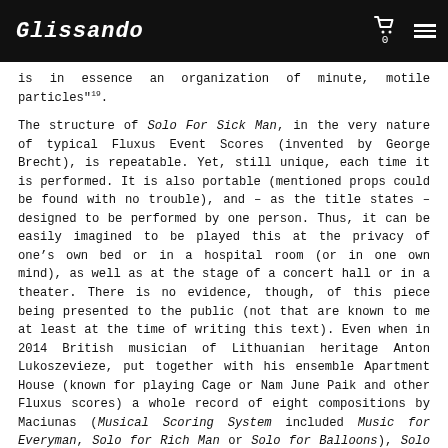Glissando
is in essence an organization of minute, motile particles"¹⁹.
The structure of Solo For Sick Man, in the very nature of typical Fluxus Event Scores (invented by George Brecht), is repeatable. Yet, still unique, each time it is performed. It is also portable (mentioned props could be found with no trouble), and – as the title states – designed to be performed by one person. Thus, it can be easily imagined to be played this at the privacy of one’s own bed or in a hospital room (or in one own mind), as well as at the stage of a concert hall or in a theater. There is no evidence, though, of this piece being presented to the public (not that are known to me at least at the time of writing this text). Even when in 2014 British musician of Lithuanian heritage Anton Lukoszevieze, put together with his ensemble Apartment House (known for playing Cage or Nam June Paik and other Fluxus scores) a whole record of eight compositions by Maciunas (Musical Scoring System included Music for Everyman, Solo for Rich Man or Solo for Balloons), Solo For Sick Man did not make its way there.